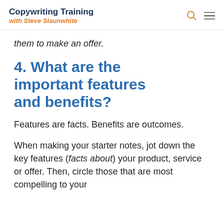Copywriting Training with Steve Slaunwhite
them to make an offer.
4. What are the important features and benefits?
Features are facts. Benefits are outcomes.
When making your starter notes, jot down the key features (facts about) your product, service or offer. Then, circle those that are most compelling to your